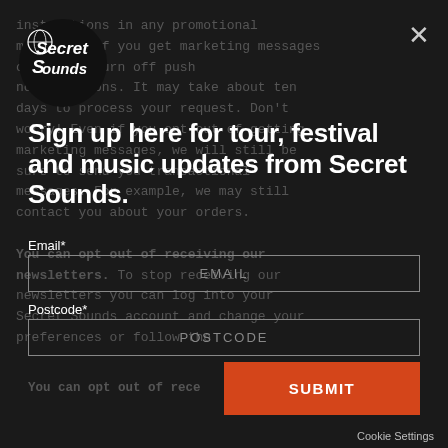[Figure (logo): Secret Sounds circular logo with handwritten-style text]
instructions in any promotional
[background legal text about push notifications, opt-out, marketing messages, transactional messages, orders]
Sign up here for tour, festival and music updates from Secret Sounds.
Email*
EMAIL (input field placeholder)
Postcode*
POSTCODE (input field placeholder)
SUBMIT (button)
You can opt out of receiving our newsletters. To stop receiving our newsletters you can log into your Secret Sounds account and change your preferences or follow the
Cookie Settings